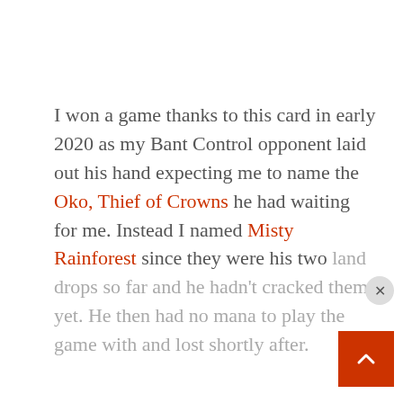I won a game thanks to this card in early 2020 as my Bant Control opponent laid out his hand expecting me to name the Oko, Thief of Crowns he had waiting for me. Instead I named Misty Rainforest since they were his two land drops so far and he hadn't cracked them yet. He then had no mana to play the game with and lost shortly after.